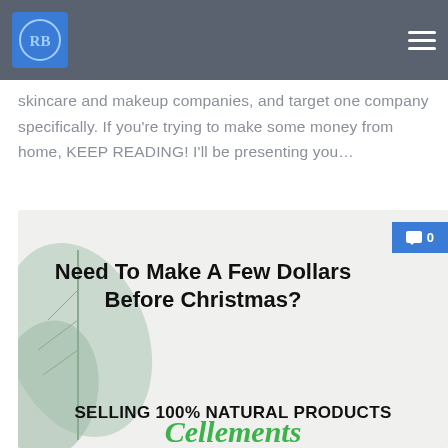RB logo and hamburger menu
skincare and makeup companies, and target one company specifically. If you're trying to make some money from home, KEEP READING! I'll be presenting you…
[Figure (illustration): Blog post card image with text: 'Need To Make A Few Dollars Before Christmas? SELLING 100% NATURAL PRODUCTS Cellements' with a leaf/plant background and a comment badge showing 0 comments.]